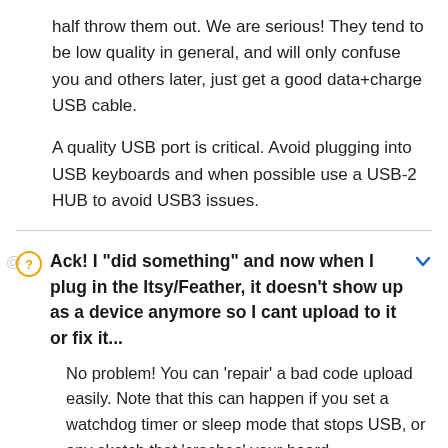half throw them out. We are serious! They tend to be low quality in general, and will only confuse you and others later, just get a good data+charge USB cable.

A quality USB port is critical. Avoid plugging into USB keyboards and when possible use a USB-2 HUB to avoid USB3 issues.
Ack! I "did something" and now when I plug in the Itsy/Feather, it doesn't show up as a device anymore so I cant upload to it or fix it...
No problem! You can 'repair' a bad code upload easily. Note that this can happen if you set a watchdog timer or sleep mode that stops USB, or any sketch that 'crashes' your board